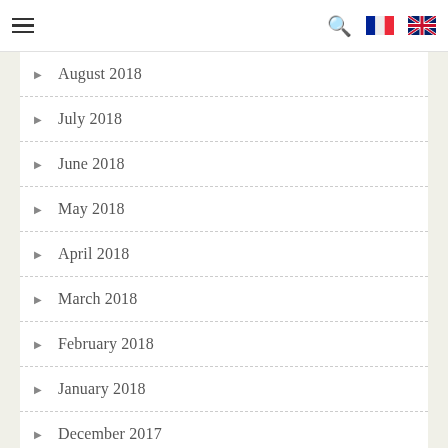Navigation header with hamburger menu, search icon, French flag, UK flag
August 2018
July 2018
June 2018
May 2018
April 2018
March 2018
February 2018
January 2018
December 2017
November 2017